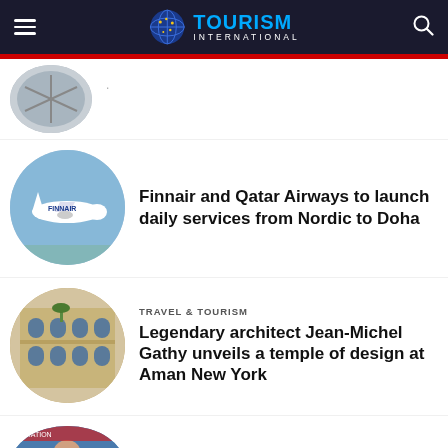TOURISM INTERNATIONAL
[Figure (photo): Partially visible circular thumbnail of an article at the top, cropped]
.
Finnair and Qatar Airways to launch daily services from Nordic to Doha
[Figure (photo): Circular thumbnail: Finnair airplane in flight against blue sky]
TRAVEL & TOURISM
Legendary architect Jean-Michel Gathy unveils a temple of design at Aman New York
[Figure (photo): Circular thumbnail: ornate building facade with arched windows and balconies]
AVIATION
[Figure (photo): Partial circular thumbnail at bottom: person at an aviation event, partially visible]